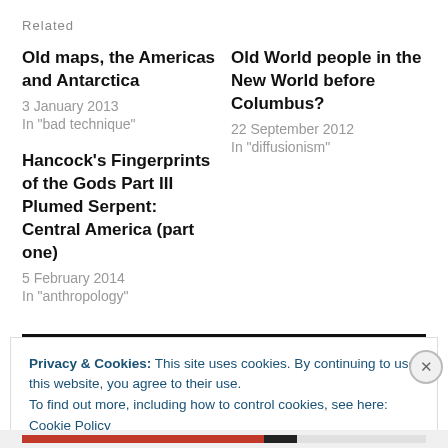Related
Old maps, the Americas and Antarctica
3 January 2013
In "bad technique"
Old World people in the New World before Columbus?
22 September 2012
In "diffusionism"
Hancock's Fingerprints of the Gods Part III Plumed Serpent: Central America (part one)
5 February 2014
In "anthropology"
Privacy & Cookies: This site uses cookies. By continuing to use this website, you agree to their use.
To find out more, including how to control cookies, see here: Cookie Policy
Close and accept